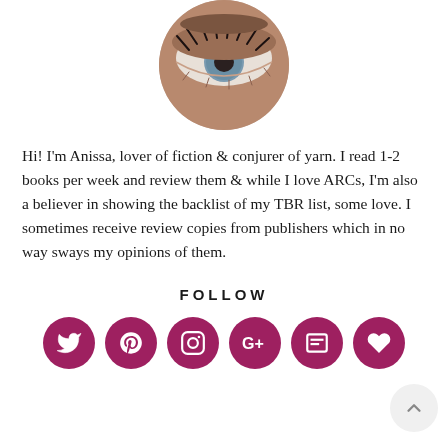[Figure (photo): Circular profile photo showing a close-up of an eye with eyelashes and eyebrow]
Hi! I'm Anissa, lover of fiction & conjurer of yarn. I read 1-2 books per week and review them & while I love ARCs, I'm also a believer in showing the backlist of my TBR list, some love. I sometimes receive review copies from publishers which in no way sways my opinions of them.
FOLLOW
[Figure (infographic): Six dark red/maroon circular social media icon buttons: Twitter, Pinterest, Instagram, Google+, Bloglovin, and Heart/Favorites]